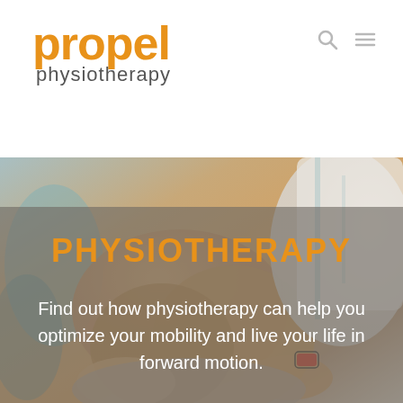propel physiotherapy
[Figure (photo): A physiotherapist treating a patient's knee/leg, blurred background with medical clinic setting.]
PHYSIOTHERAPY
Find out how physiotherapy can help you optimize your mobility and live your life in forward motion.